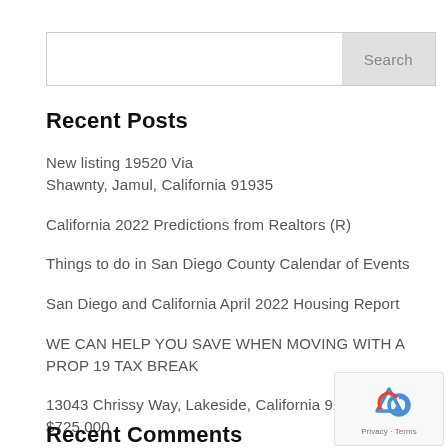Recent Posts
New listing 19520 Via Shawnty, Jamul, California 91935
California 2022 Predictions from Realtors (R)
Things to do in San Diego County Calendar of Events
San Diego and California April 2022 Housing Report
WE CAN HELP YOU SAVE WHEN MOVING WITH A PROP 19 TAX BREAK
13043 Chrissy Way, Lakeside, California 92040 $725,000
Things to do in San Diego April 2022
Recent Comments